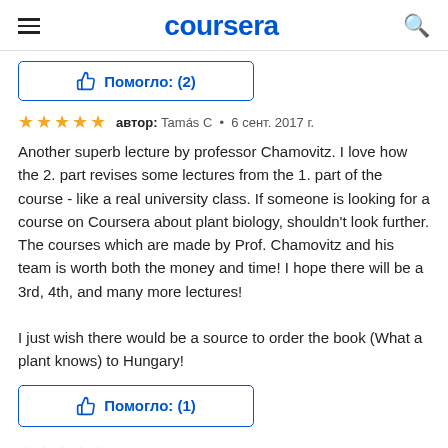coursera
Помогло: (2)
автор: Tamás C • 6 сент. 2017 г.
Another superb lecture by professor Chamovitz. I love how the 2. part revises some lectures from the 1. part of the course - like a real university class. If someone is looking for a course on Coursera about plant biology, shouldn't look further. The courses which are made by Prof. Chamovitz and his team is worth both the money and time! I hope there will be a 3rd, 4th, and many more lectures!

I just wish there would be a source to order the book (What a plant knows) to Hungary!
Помогло: (1)